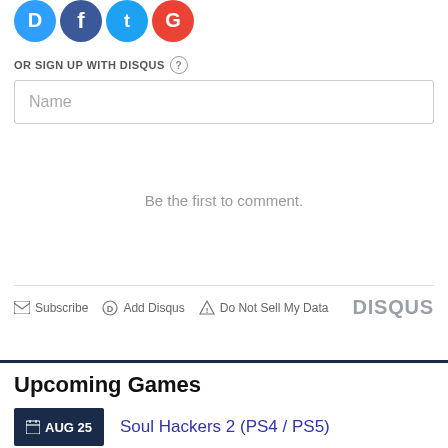[Figure (illustration): Social login icons: Disqus (blue), Facebook (blue), Twitter (light blue), Google (red) circular icons]
OR SIGN UP WITH DISQUS ?
Name
Be the first to comment.
Subscribe  Add Disqus  Do Not Sell My Data  DISQUS
Upcoming Games
AUG 25  Soul Hackers 2 (PS4 / PS5)